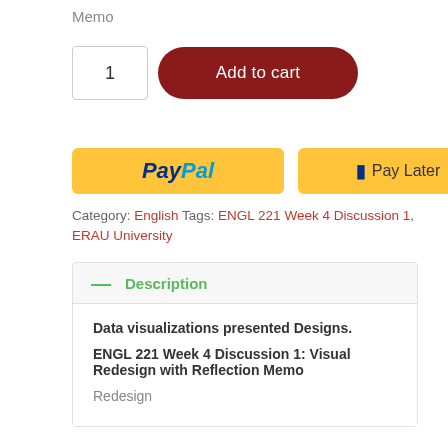Memo
1
Add to cart
[Figure (other): PayPal payment button (yellow)]
[Figure (other): Pay Later payment button (yellow)]
Category: English Tags: ENGL 221 Week 4 Discussion 1, ERAU University
Description
Data visualizations presented Designs.

ENGL 221 Week 4 Discussion 1: Visual Redesign with Reflection Memo

Redesign